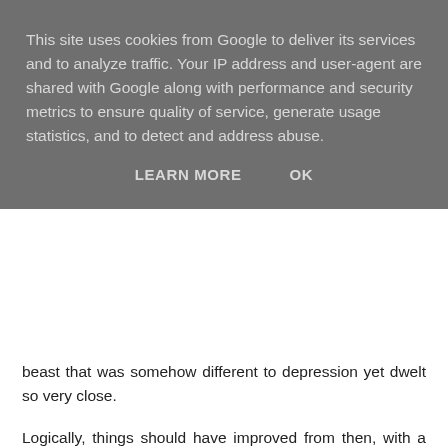This site uses cookies from Google to deliver its services and to analyze traffic. Your IP address and user-agent are shared with Google along with performance and security metrics to ensure quality of service, generate usage statistics, and to detect and address abuse.
LEARN MORE   OK
beast that was somehow different to depression yet dwelt so very close.
Logically, things should have improved from then, with a bit of a break and some medication that had previously worked, but instead things seemed to grow increasingly worse and it began a bit of a downwards spiral that I still find myself fighting to get off.
I never did go back to that job (though there were other contributing factors besides my mental health) and it reached a point where I was terrified of being seen around town and struggling to leave the house. I eventually moved to Aberdeen and got a little cafe job, hoping that the new start might help to shake things off, but despite loving the freedom...